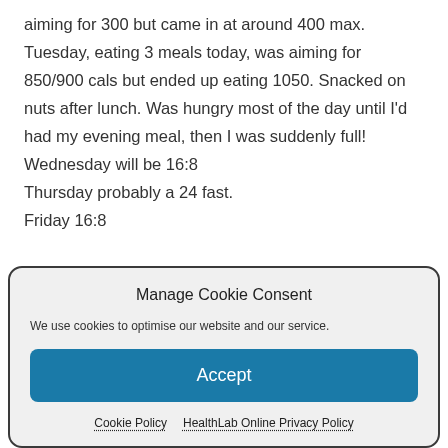aiming for 300 but came in at around 400 max. Tuesday, eating 3 meals today, was aiming for 850/900 cals but ended up eating 1050. Snacked on nuts after lunch. Was hungry most of the day until I'd had my evening meal, then I was suddenly full! Wednesday will be 16:8 Thursday probably a 24 fast. Friday 16:8
Manage Cookie Consent
We use cookies to optimise our website and our service.
Accept
Cookie Policy   HealthLab Online Privacy Policy